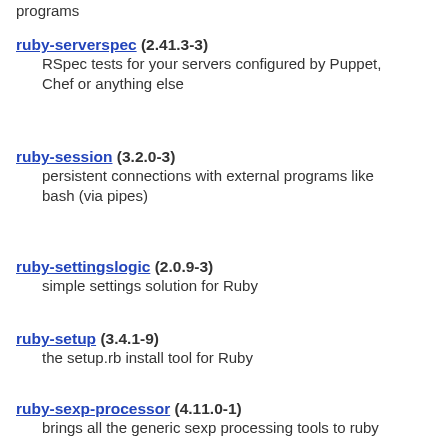programs
ruby-serverspec (2.41.3-3)
    RSpec tests for your servers configured by Puppet, Chef or anything else
ruby-session (3.2.0-3)
    persistent connections with external programs like bash (via pipes)
ruby-settingslogic (2.0.9-3)
    simple settings solution for Ruby
ruby-setup (3.4.1-9)
    the setup.rb install tool for Ruby
ruby-sexp-processor (4.11.0-1)
    brings all the generic sexp processing tools to ruby